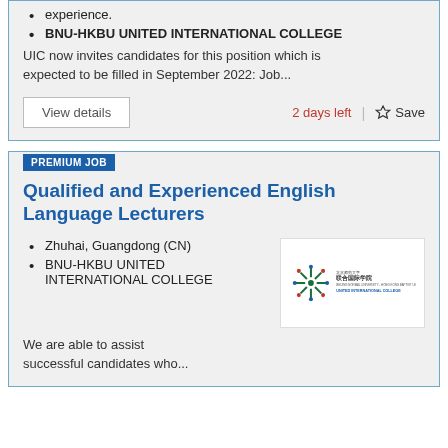experience.
BNU-HKBU UNITED INTERNATIONAL COLLEGE
UIC now invites candidates for this position which is expected to be filled in September 2022: Job...
View details | 2 days left | Save
PREMIUM JOB
Qualified and Experienced English Language Lecturers
Zhuhai, Guangdong (CN)
BNU-HKBU UNITED INTERNATIONAL COLLEGE
[Figure (logo): BNU-HKBU United International College logo with Chinese characters 联合国际学院]
We are able to assist successful candidates who...